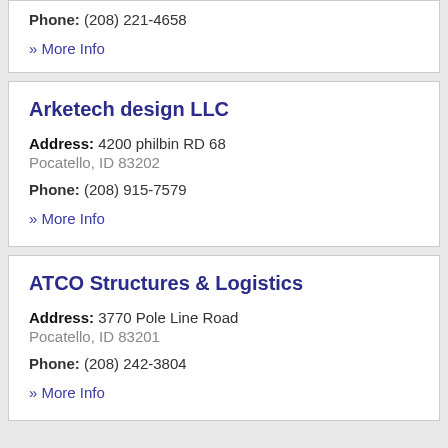Phone: (208) 221-4658
» More Info
Arketech design LLC
Address: 4200 philbin RD 68
Pocatello, ID 83202
Phone: (208) 915-7579
» More Info
ATCO Structures & Logistics
Address: 3770 Pole Line Road
Pocatello, ID 83201
Phone: (208) 242-3804
» More Info